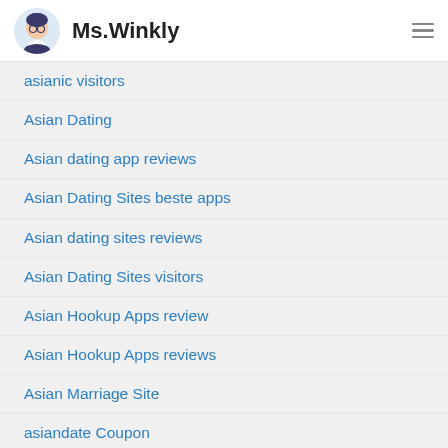Ms.Winkly
asianic visitors
Asian Dating
Asian dating app reviews
Asian Dating Sites beste apps
Asian dating sites reviews
Asian Dating Sites visitors
Asian Hookup Apps review
Asian Hookup Apps reviews
Asian Marriage Site
asiandate Coupon
AsianDate desktop
asiandate randki
asiandate reviews